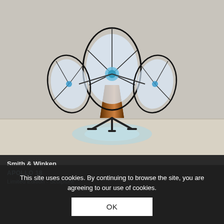[Figure (photo): A sculpture called Apollo 18 by Smith & Winken. Three large oval/circular disc shapes with dragonfly-wing-like translucent surfaces mounted on metal frames, arranged around a central blue glowing hub. The structure stands on a wooden pedestal with a black tripod metal base on a gallery floor. Blue light projected on the floor beneath.]
Smith & Winken
APOLLO 18
Limited Edition - Sculpture
This site uses cookies. By continuing to browse the site, you are agreeing to our use of cookies.
OK